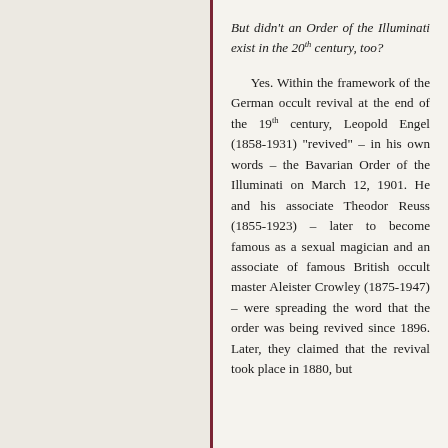But didn't an Order of the Illuminati exist in the 20th century, too?
Yes. Within the framework of the German occult revival at the end of the 19th century, Leopold Engel (1858-1931) "revived" – in his own words – the Bavarian Order of the Illuminati on March 12, 1901. He and his associate Theodor Reuss (1855-1923) – later to become famous as a sexual magician and an associate of famous British occult master Aleister Crowley (1875-1947) – were spreading the word that the order was being revived since 1896. Later, they claimed that the revival took place in 1880, but